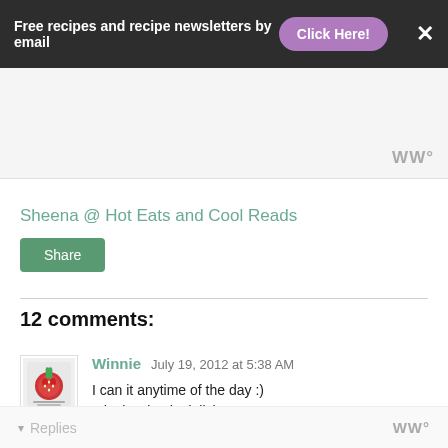Free recipes and recipe newsletters by email  Click Here!  X
[Figure (other): Advertisement placeholder block with Wix logo watermark]
Sheena @ Hot Eats and Cool Reads
Share
12 comments:
Winnie  July 19, 2012 at 5:38 AM
I can it anytime of the day :)
It looks simply delicious
Reply
▾ Replies